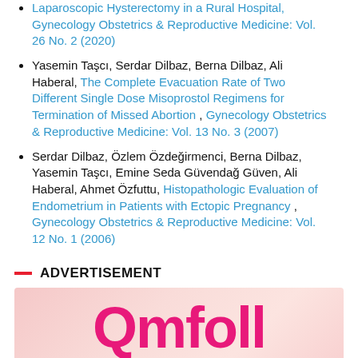Laparoscopic Hysterectomy in a Rural Hospital, Gynecology Obstetrics & Reproductive Medicine: Vol. 26 No. 2 (2020)
Yasemin Taşcı, Serdar Dilbaz, Berna Dilbaz, Ali Haberal, The Complete Evacuation Rate of Two Different Single Dose Misoprostol Regimens for Termination of Missed Abortion , Gynecology Obstetrics & Reproductive Medicine: Vol. 13 No. 3 (2007)
Serdar Dilbaz, Özlem Özdeğirmenci, Berna Dilbaz, Yasemin Taşcı, Emine Seda Güvendağ Güven, Ali Haberal, Ahmet Özfuttu, Histopathologic Evaluation of Endometrium in Patients with Ectopic Pregnancy , Gynecology Obstetrics & Reproductive Medicine: Vol. 12 No. 1 (2006)
ADVERTISEMENT
[Figure (photo): Advertisement image with pink background showing the text 'Qmfoll' in large bold magenta/pink lettering]